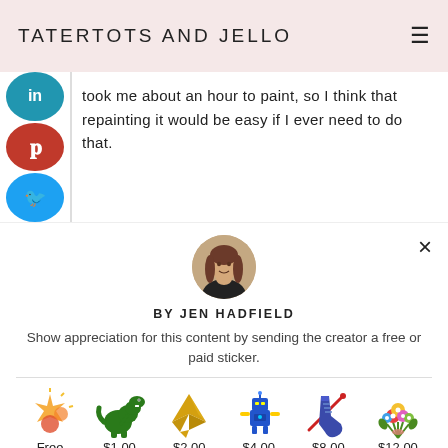TATERTOTS AND JELLO
took me about an hour to paint, so I think that repainting it would be easy if I ever need to do that.
[Figure (other): BY JEN HADFIELD author popup with circular portrait photo, close button, appreciation text, and sticker pricing row showing Free, $1.00, $2.00, $4.00, $8.00, $12.00 options with emoji sticker icons]